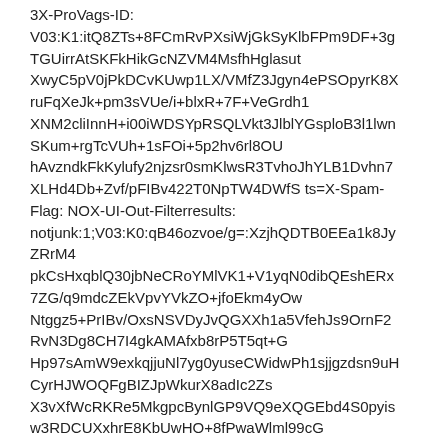3X-ProVags-ID: V03:K1:itQ8ZTs+8FCmRvPXsiWjGkSyKlbFPm9DF+3gTGUirrAtSKFkHikGcNZVM4MsfhHglasut XwyC5pV0jPkDCvKUwp1LX/VMfZ3Jgyn4ePSOpyrK8X ruFqXeJk+pm3sVUe/i+blxR+7F+VeGrdh1 XNM2cliInnH+i00iWDSYpRSQLVkt3JlblYGsploB3l1lwn SKum+rgTcVUh+1sFOi+5p2hv6rl8OU hAvzndkFkKylufy2njzsr0smKlwsR3TvhoJhYLB1Dvhn7 XLHd4Db+Zvf/pFIBv422T0NpTW4DWfS ts=X-Spam-Flag: NOX-UI-Out-Filterresults: notjunk:1;V03:K0:qB46ozvoe/g=:XzjhQDTB0EEa1k8Jy ZRrM4 pkCsHxqblQ30jbNeCRoYMlVK1+V1yqN0dibQEshERx 7ZG/q9mdcZEkVpvYVkZO+jfoEkm4yOw Ntggz5+PrIBv/OxsNSVDyJvQGXXh1a5VfehJs9OrnF2 RvN3Dg8CH7I4gkAMAfxb8rP5T5qt+G Hp97sAmW9exkqjjuNl7yg0yuseCWidwPh1sjjgzdsn9uH CyrHJWOQFgBIZJpWkurX8adIc2Zs X3vXfWcRKRe5MkgpcBynlGP9VQ9eXQGEbd4S0pyis w3RDCUXxhrE8KbUwHO+8fPwaWlml99cG